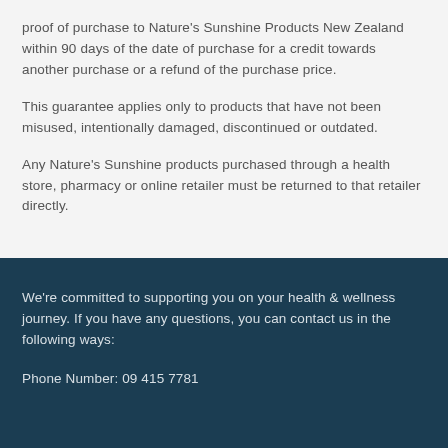proof of purchase to Nature's Sunshine Products New Zealand within 90 days of the date of purchase for a credit towards another purchase or a refund of the purchase price.
This guarantee applies only to products that have not been misused, intentionally damaged, discontinued or outdated.
Any Nature's Sunshine products purchased through a health store, pharmacy or online retailer must be returned to that retailer directly.
We're committed to supporting you on your health & wellness journey. If you have any questions, you can contact us in the following ways:
Phone Number: 09 415 7781